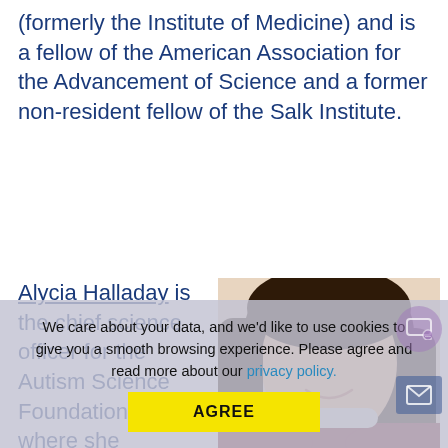(formerly the Institute of Medicine) and is a fellow of the American Association for the Advancement of Science and a former non-resident fellow of the Salk Institute.
Alycia Halladay is the chief science officer for the Autism Science Foundation (ASF), where she oversees scientific activities,
[Figure (photo): Headshot of Alycia Halladay, a woman with long dark brown hair, smiling, wearing a dark maroon/burgundy top, photographed against a light beige background.]
We care about your data, and we'd like to use cookies to give you a smooth browsing experience. Please agree and read more about our privacy policy.
AGREE